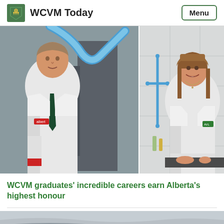WCVM Today
[Figure (photo): Two WCVM graduates in white lab coats. On the left, a man stands in an industrial/lab setting with blue hoses and machinery behind him; his coat has a red logo. On the right, a woman with brown hair smiles in a laboratory setting with equipment and tubes visible; her coat has a green logo.]
WCVM graduates' incredible careers earn Alberta's highest honour
[Figure (photo): Partial view of a scenic landscape with grey sky and land, shown as a preview strip at the bottom of the page.]